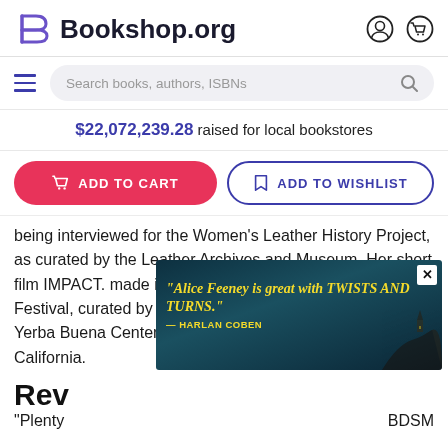Bookshop.org
Search books, authors, ISBNs
$22,072,239.28 raised for local bookstores
ADD TO CART
ADD TO WISHLIST
being interviewed for the Women's Leather History Project, as curated by the Leather Archives and Museum. Her short film IMPACT. made its debut at the 2012 ASKEW! Film Festival, curated by Madison Young and presented by the Yerba Buena Center for the Arts in San Francisco, California.
[Figure (screenshot): Advertisement overlay showing a book promotion with quote: 'Alice Feeney is great with TWISTS AND TURNS.' — HARLAN COBEN, displayed over a dark coastal scene]
Rev
"Plenty BDSM